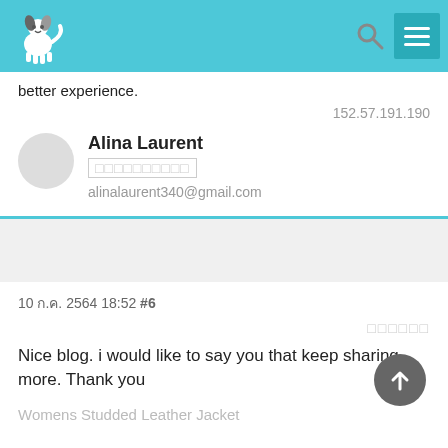Navigation bar with dog logo, search icon, and menu icon
better experience.
152.57.191.190
Alina Laurent
□□□□□□□□□□
alinalaurent340@gmail.com
10 ก.ค. 2564 18:52 #6
□□□□□□
Nice blog. i would like to say you that keep sharing more. Thank you
Womens Studded Leather Jacket